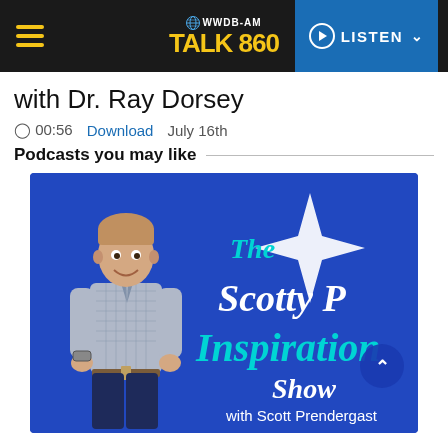WWDB-AM TALK 860 | LISTEN
with Dr. Ray Dorsey
00:56   Download   July 16th
Podcasts you may like
[Figure (illustration): The Scotty P Inspiration Show with Scott Prendergast podcast cover art on a blue background, featuring a man in a checkered shirt and dark pants standing to the left, with white sparkle star graphic on the right.]